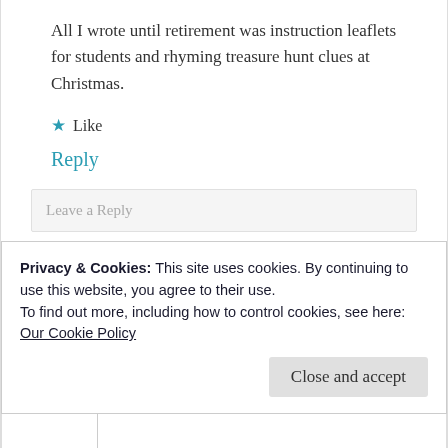All I wrote until retirement was instruction leaflets for students and rhyming treasure hunt clues at Christmas.
★ Like
Reply
Leave a Reply
Your email address will not be published.
Privacy & Cookies: This site uses cookies. By continuing to use this website, you agree to their use.
To find out more, including how to control cookies, see here:
Our Cookie Policy
Close and accept